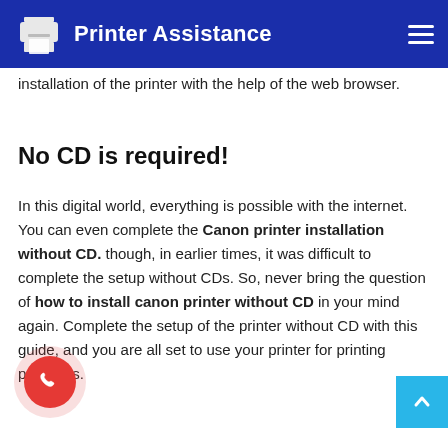Printer Assistance
installation of the printer with the help of the web browser.
No CD is required!
In this digital world, everything is possible with the internet. You can even complete the Canon printer installation without CD. though, in earlier times, it was difficult to complete the setup without CDs. So, never bring the question of how to install canon printer without CD in your mind again. Complete the setup of the printer without CD with this guide, and you are all set to use your printer for printing purposes.